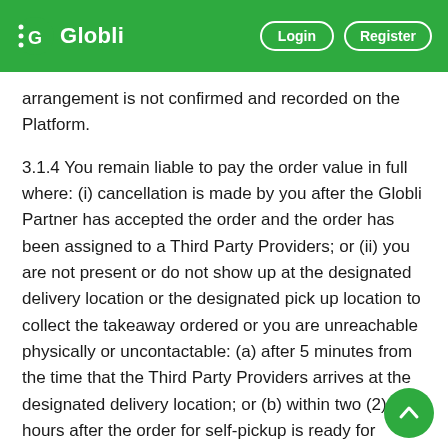Globli — Login | Register
arrangement is not confirmed and recorded on the Platform.
3.1.4 You remain liable to pay the order value in full where: (i) cancellation is made by you after the Globli Partner has accepted the order and the order has been assigned to a Third Party Providers; or (ii) you are not present or do not show up at the designated delivery location or the designated pick up location to collect the takeaway ordered or you are unreachable physically or uncontactable: (a) after 5 minutes from the time that the Third Party Providers arrives at the designated delivery location; or (b) within two (2) hours after the order for self-pickup is ready for collection; within such duration as may be communicated by